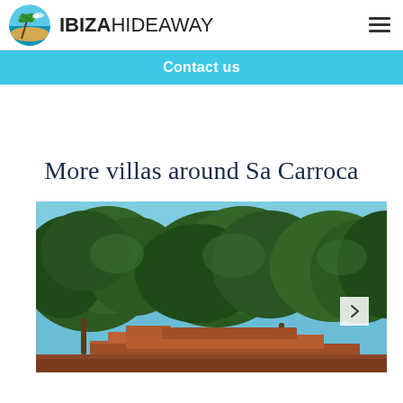IBIZAHIDEAWAY
Contact us
More villas around Sa Carroca
[Figure (photo): Exterior photo of a villa with terracotta roofline surrounded by tall green trees under a bright blue sky, Sa Carroca area Ibiza]